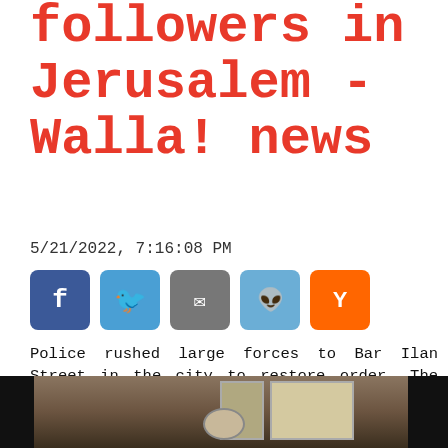followers in Jerusalem - Walla! news
5/21/2022, 7:16:08 PM
[Figure (other): Social share buttons: Facebook (blue), Twitter (light blue), Email (gray), Reddit (light blue), Y Combinator (orange)]
Police rushed large forces to Bar Ilan Street in the city to restore order. The clashes began yesterday in Jerusalem, Bnei Brak and Ashdod. A policeman and several followers were slightly injured. The conflict erupted against the backdrop of the split in Hasidism and the ongoing conflict between the factions since
[Figure (photo): A dark photograph showing an interior room or street scene, mostly dark on the left and right edges, with a brownish center showing a room with windows and a circular sign or emblem visible at the bottom center.]